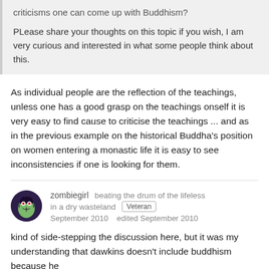criticisms one can come up with Buddhism?
PLease share your thoughts on this topic if you wish, I am very curious and interested in what some people think about this.
As individual people are the reflection of the teachings, unless one has a good grasp on the teachings onself it is very easy to find cause to criticise the teachings ... and as in the previous example on the historical Buddha's position on women entering a monastic life it is easy to see inconsistencies if one is looking for them.
zombiegirl   beating the drum of the lifeless in a dry wasteland   Veteran
September 2010   edited September 2010
kind of side-stepping the discussion here, but it was my understanding that dawkins doesn't include buddhism because he